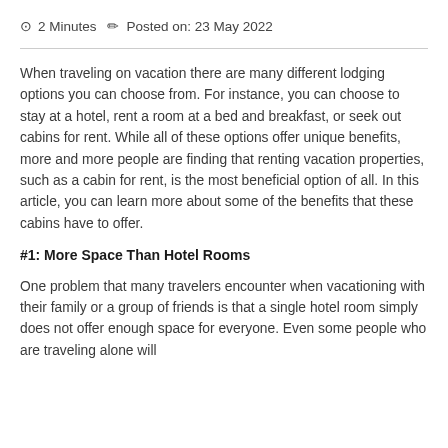🕐 2 Minutes ✏️ Posted on: 23 May 2022
When traveling on vacation there are many different lodging options you can choose from. For instance, you can choose to stay at a hotel, rent a room at a bed and breakfast, or seek out cabins for rent. While all of these options offer unique benefits, more and more people are finding that renting vacation properties, such as a cabin for rent, is the most beneficial option of all. In this article, you can learn more about some of the benefits that these cabins have to offer.
#1: More Space Than Hotel Rooms
One problem that many travelers encounter when vacationing with their family or a group of friends is that a single hotel room simply does not offer enough space for everyone. Even some people who are traveling alone will